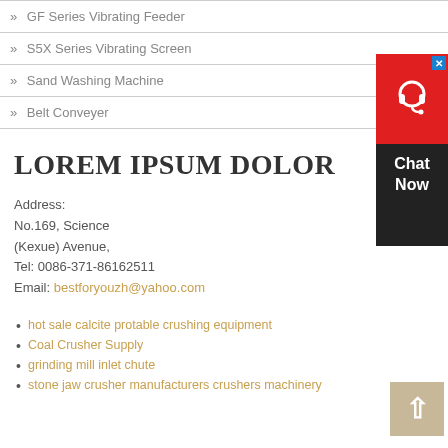» GF Series Vibrating Feeder
» S5X Series Vibrating Screen
» Sand Washing Machine
» Belt Conveyer
LOREM IPSUM DOLOR
Address:
No.169, Science
(Kexue) Avenue,
Tel: 0086-371-86162511
Email: bestforyouzh@yahoo.com
hot sale calcite protable crushing equipment
Coal Crusher Supply
grinding mill inlet chute
stone jaw crusher manufacturers crushers machinery